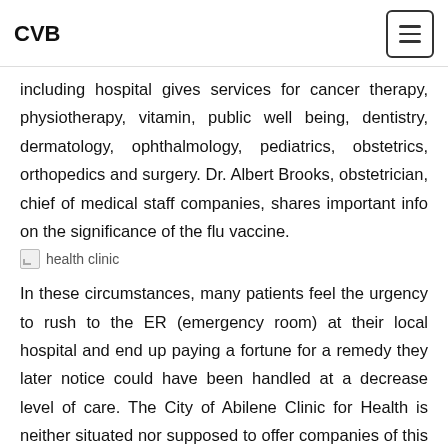CVB
...including hospital gives services for cancer therapy, physiotherapy, vitamin, public well being, dentistry, dermatology, ophthalmology, pediatrics, obstetrics, orthopedics and surgery. Dr. Albert Brooks, obstetrician, chief of medical staff companies, shares important info on the significance of the flu vaccine.
[Figure (photo): health clinic image placeholder]
In these circumstances, many patients feel the urgency to rush to the ER (emergency room) at their local hospital and end up paying a fortune for a remedy they later notice could have been handled at a decrease level of care. The City of Abilene Clinic for Health is neither situated nor supposed to offer companies of this nature. Different amenities on the